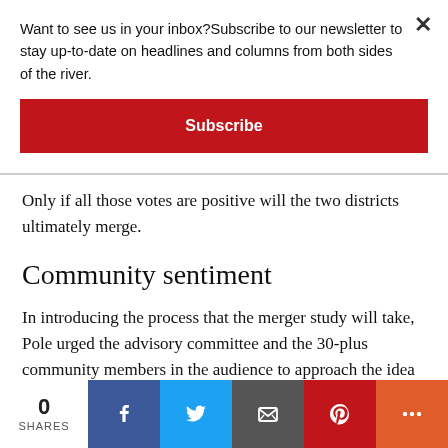Want to see us in your inbox?Subscribe to our newsletter to stay up-to-date on headlines and columns from both sides of the river.
Subscribe
Only if all those votes are positive will the two districts ultimately merge.
Community sentiment
In introducing the process that the merger study will take, Pole urged the advisory committee and the 30-plus community members in the audience to approach the idea of a merger with an open mind.
It was very possible that some people were there that night
0
SHARES